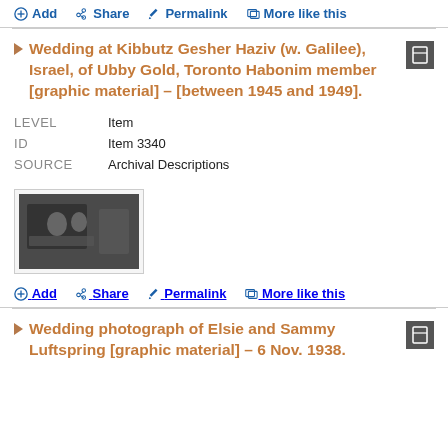Add  Share  Permalink  More like this
Wedding at Kibbutz Gesher Haziv (w. Galilee), Israel, of Ubby Gold, Toronto Habonim member [graphic material] – [between 1945 and 1949].
| LEVEL | Item |
| ID | Item 3340 |
| SOURCE | Archival Descriptions |
[Figure (photo): Black and white thumbnail photograph of wedding scene]
Add  Share  Permalink  More like this
Wedding photograph of Elsie and Sammy Luftspring [graphic material] – 6 Nov. 1938.